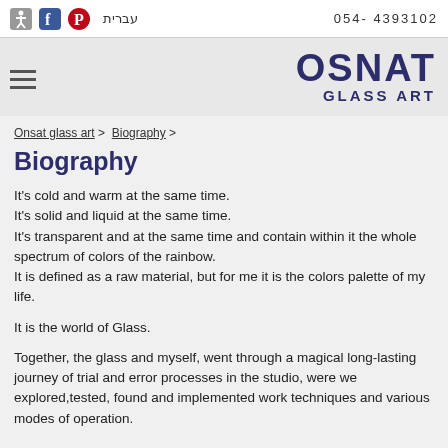עברית   054- 4393102
[Figure (logo): OSNAT GLASS ART logo in dark navy blue, large bold text]
Onsat glass art > Biography >
Biography
It's cold and warm at the same time.
It's solid and liquid at the same time.
It's transparent and at the same time and contain within it the whole spectrum of colors of the rainbow.
It is defined as a raw material, but for me it is the colors palette of my life.
It is the world of Glass.
Together, the glass and myself, went through a magical long-lasting journey of trial and error processes in the studio, were we explored,tested, found and implemented work techniques and various modes of operation.